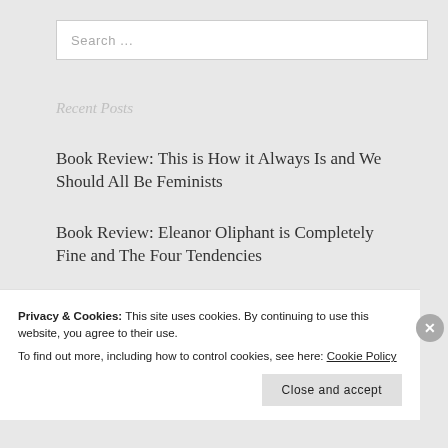Search ...
Recent Posts
Book Review: This is How it Always Is and We Should All Be Feminists
Book Review: Eleanor Oliphant is Completely Fine and The Four Tendencies
New Year, New Word
To Our Family
Beauty in the Details
Privacy & Cookies: This site uses cookies. By continuing to use this website, you agree to their use. To find out more, including how to control cookies, see here: Cookie Policy
Close and accept